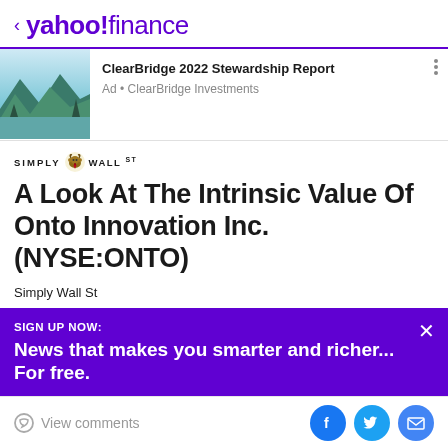< yahoo!finance
[Figure (screenshot): ClearBridge 2022 Stewardship Report advertisement banner with mountain lake image]
ClearBridge 2022 Stewardship Report
Ad • ClearBridge Investments
[Figure (logo): Simply Wall St logo with bull mascot icon]
A Look At The Intrinsic Value Of Onto Innovation Inc. (NYSE:ONTO)
Simply Wall St
SIGN UP NOW:
News that makes you smarter and richer... For free.
View comments